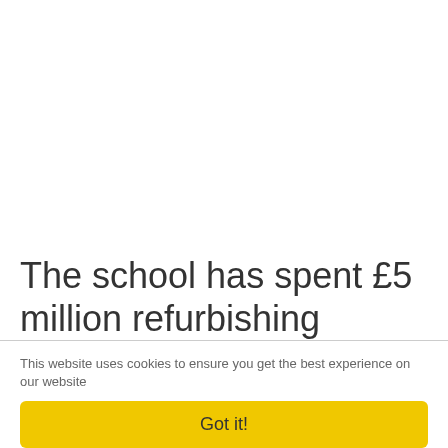The school has spent £5 million refurbishing
This website uses cookies to ensure you get the best experience on our website
Got it!